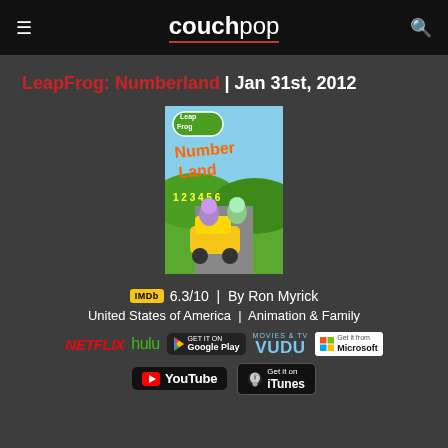couchpop
LeapFrog: Numberland | Jan 31st, 2012
[Figure (photo): DVD cover art for LeapFrog: Numberland showing animated characters including a frog and number-themed imagery]
IMDb 6.3/10 | By Ron Myrick
United States of America | Animation & Family
[Figure (logo): Streaming platform logos: Netflix, Hulu, Google Play, Vudu Movies & TV, Microsoft]
[Figure (logo): Streaming platform logos: YouTube, iTunes]